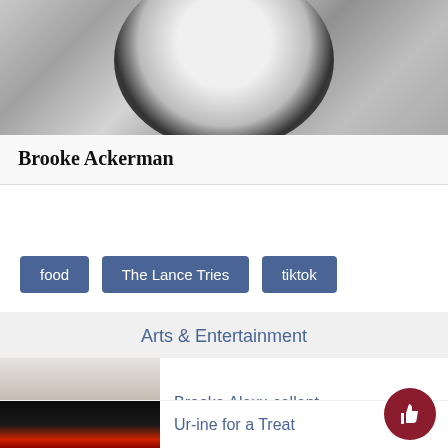[Figure (photo): Top portion of a photo showing a white plate/bowl on granite countertop, cropped]
Brooke Ackerman
food
The Lance Tries
tiktok
Arts & Entertainment
[Figure (photo): Photo of a person with short black hair wearing a striped polo shirt]
Brooke Alexx-cellent
[Figure (photo): Dark photo, partially visible at bottom]
Ur-ine for a Treat